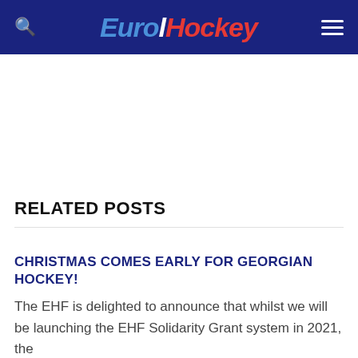EuroHockey
RELATED POSTS
CHRISTMAS COMES EARLY FOR GEORGIAN HOCKEY!
The EHF is delighted to announce that whilst we will be launching the EHF Solidarity Grant system in 2021, the